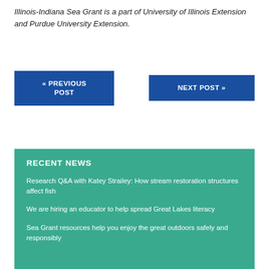Illinois-Indiana Sea Grant is a part of University of Illinois Extension and Purdue University Extension.
« PREVIOUS POST
NEXT POST »
RECENT NEWS
Research Q&A with Katey Strailey: How stream restoration structures affect fish
We are hiring an educator to help spread Great Lakes literacy
Sea Grant resources help you enjoy the great outdoors safely and responsibly